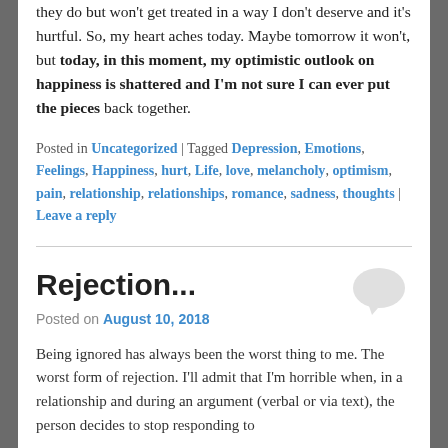they do but won't get treated in a way I don't deserve and it's hurtful. So, my heart aches today. Maybe tomorrow it won't, but today, in this moment, my optimistic outlook on happiness is shattered and I'm not sure I can ever put the pieces back together.
Posted in Uncategorized | Tagged Depression, Emotions, Feelings, Happiness, hurt, Life, love, melancholy, optimism, pain, relationship, relationships, romance, sadness, thoughts | Leave a reply
Rejection...
Posted on August 10, 2018
Being ignored has always been the worst thing to me. The worst form of rejection. I'll admit that I'm horrible when, in a relationship and during an argument (verbal or via text), the person decides to stop responding to